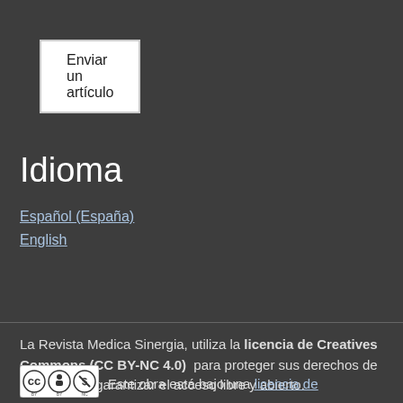Enviar un artículo
Idioma
Español (España)
English
La Revista Medica Sinergia, utiliza la licencia de Creatives Commons (CC BY-NC 4.0) para proteger sus derechos de autor y para garantizar el acceso libre y abierto.
Este obra está bajo una licencia de